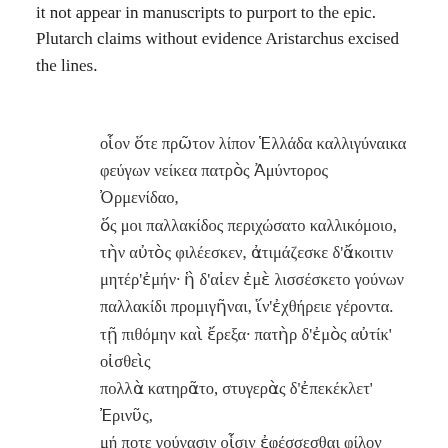it not appear in manuscripts to purport to the epic. Plutarch claims without evidence Aristarchus excised the lines.
οἷον ὅτε πρῶτον λίπον Ἑλλάδα καλλιγύναικα φεύγων νείκεα πατρὸς Ἀμύντορος Ὀρμενίδαο, ὅς μοι παλλακίδος περιχώσατο καλλικόμοιο, τὴν αὐτὸς φιλέεσκεν, ἀτιμάζεσκε δ'ἄκοιτιν μητέρ'ἐμήν· ἣ δ'αἰεν ἐμὲ λισσέσκετο γούνων παλλακίδι προμιγῆναι, ἵν'ἐχθήρειε γέροντα. τῇ πιθόμην καὶ ἔρεξα· πατὴρ δ'ἐμὸς αὐτίκ' οἰσθεὶς πολλὰ κατηρᾶτο, στυγερὰς δ'ἐπεκέκλετ' Ἐρινῦς, μή ποτε γούνασιν οἷσιν ἐφέσσεσθαι φίλον υἱόν